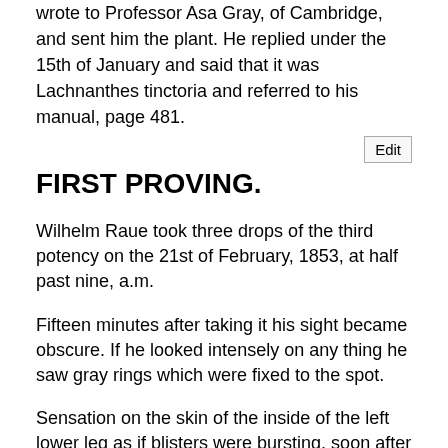wrote to Professor Asa Gray, of Cambridge, and sent him the plant. He replied under the 15th of January and said that it was Lachnanthes tinctoria and referred to his manual, page 481.
FIRST PROVING.
Wilhelm Raue took three drops of the third potency on the 21st of February, 1853, at half past nine, a.m.
Fifteen minutes after taking it his sight became obscure. If he looked intensely on any thing he saw gray rings which were fixed to the spot.
Sensation on the skin of the inside of the left lower leg as if blisters were bursting, soon after the same sensation on the right lower limb.
Sensation as if the vertex was enlarged and was extended upwards.